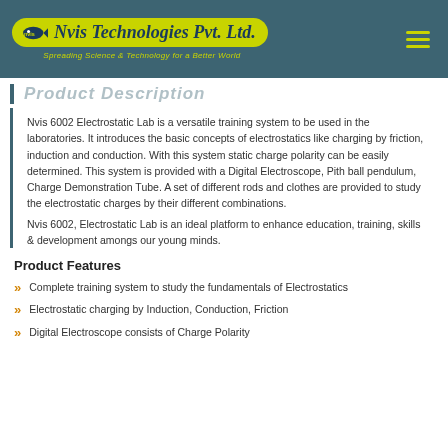Nvis Technologies Pvt. Ltd. — Spreading Science & Technology for a Better World
Product Description
Nvis 6002 Electrostatic Lab is a versatile training system to be used in the laboratories. It introduces the basic concepts of electrostatics like charging by friction, induction and conduction. With this system static charge polarity can be easily determined. This system is provided with a Digital Electroscope, Pith ball pendulum, Charge Demonstration Tube. A set of different rods and clothes are provided to study the electrostatic charges by their different combinations.
Nvis 6002, Electrostatic Lab is an ideal platform to enhance education, training, skills & development amongs our young minds.
Product Features
Complete training system to study the fundamentals of Electrostatics
Electrostatic charging by Induction, Conduction, Friction
Digital Electroscope consists of Charge Polarity